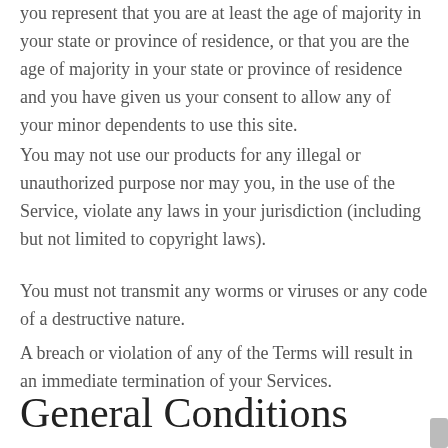you represent that you are at least the age of majority in your state or province of residence, or that you are the age of majority in your state or province of residence and you have given us your consent to allow any of your minor dependents to use this site.
You may not use our products for any illegal or unauthorized purpose nor may you, in the use of the Service, violate any laws in your jurisdiction (including but not limited to copyright laws).
You must not transmit any worms or viruses or any code of a destructive nature.
A breach or violation of any of the Terms will result in an immediate termination of your Services.
General Conditions